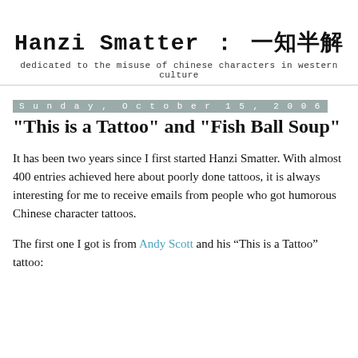Hanzi Smatter : 一知半解
dedicated to the misuse of chinese characters in western culture
Sunday, October 15, 2006
"This is a Tattoo" and "Fish Ball Soup"
It has been two years since I first started Hanzi Smatter. With almost 400 entries achieved here about poorly done tattoos, it is always interesting for me to receive emails from people who got humorous Chinese character tattoos.
The first one I got is from Andy Scott and his “This is a Tattoo” tattoo: